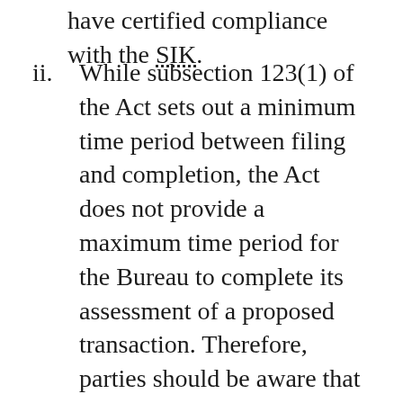have certified compliance with the SIK.
ii. While subsection 123(1) of the Act sets out a minimum time period between filing and completion, the Act does not provide a maximum time period for the Bureau to complete its assessment of a proposed transaction. Therefore, parties should be aware that the statutory waiting periods under subsection 123(1) may not match the service standard periods set out in the Handbook. While parties can legally complete their transaction after the end of the applicable waiting period,